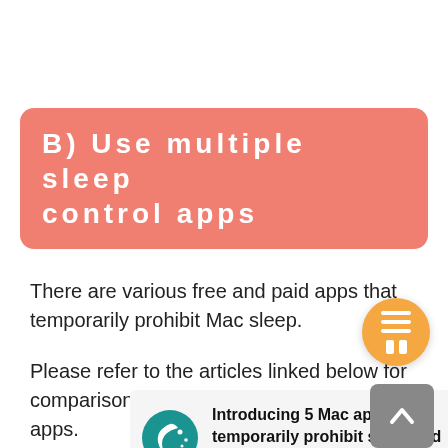B) Use multiple sleep control apps
There are various free and paid apps that temporarily prohibit Mac sleep.
Please refer to the articles linked below for comparisons and recommendations of apps.
[Figure (other): Link card with a teal moon icon and bold text: Introducing 5 Mac apps that temporarily prohibit sleep and manage the start time]